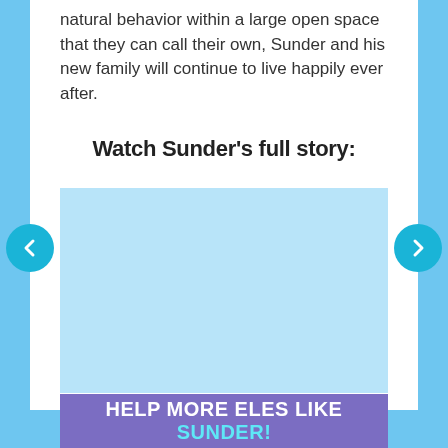natural behavior within a large open space that they can call their own, Sunder and his new family will continue to live happily ever after.
Watch Sunder's full story:
[Figure (other): Embedded video player area with light blue background for Sunder's story]
[Figure (other): Left navigation arrow button (teal circle with left arrow)]
[Figure (other): Right navigation arrow button (teal circle with right arrow)]
HELP MORE ELES LIKE SUNDER!